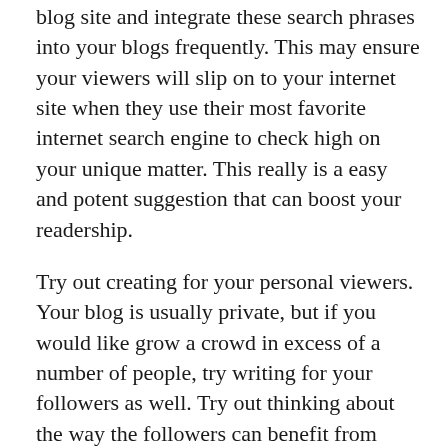blog site and integrate these search phrases into your blogs frequently. This may ensure your viewers will slip on to your internet site when they use their most favorite internet search engine to check high on your unique matter. This really is a easy and potent suggestion that can boost your readership.
Try out creating for your personal viewers. Your blog is usually private, but if you would like grow a crowd in excess of a number of people, try writing for your followers as well. Try out thinking about the way the followers can benefit from your posts. Should you wish to become a one named beneficiary right here, you must build a exclusive log.
When you find yourself dealing with your personal website, it can be totally required which you effectively change and proofread every single publish